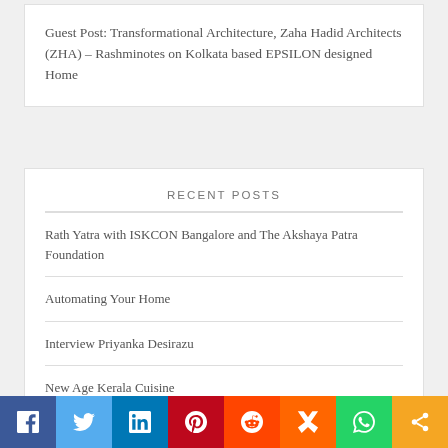Guest Post: Transformational Architecture, Zaha Hadid Architects (ZHA) – Rashminotes on Kolkata based EPSILON designed Home
RECENT POSTS
Rath Yatra with ISKCON Bangalore and The Akshaya Patra Foundation
Automating Your Home
Interview Priyanka Desirazu
New Age Kerala Cuisine